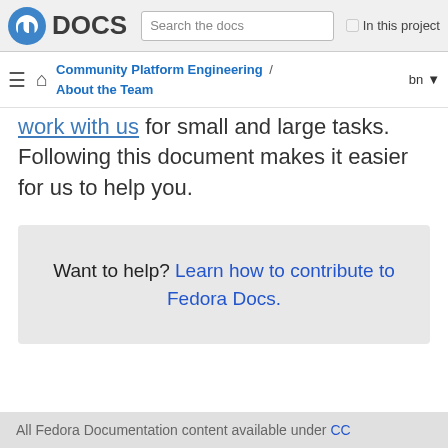Fedora DOCS | Search the docs | In this project
Community Platform Engineering / About the Team | bn
work with us for small and large tasks. Following this document makes it easier for us to help you.
Want to help? Learn how to contribute to Fedora Docs.
All Fedora Documentation content available under CC